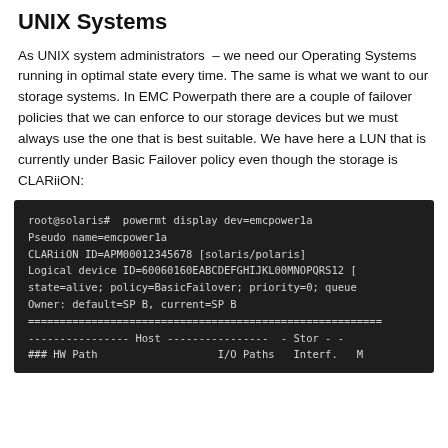UNIX Systems
As UNIX system administrators  – we need our Operating Systems running in optimal state every time. The same is what we want to our storage systems. In EMC Powerpath there are a couple of failover policies that we can enforce to our storage devices but we must always use the one that is best suitable. We have here a LUN that is currently under Basic Failover policy even though the storage is CLARiiON:
[Figure (screenshot): Terminal output showing powermt display dev=emcpower1a command with CLARiiON storage details including Pseudo name, CLARiiON ID, Logical device ID, state, policy=BasicFailover, priority, Owner SP B, and table headers for Host/Stor paths.]